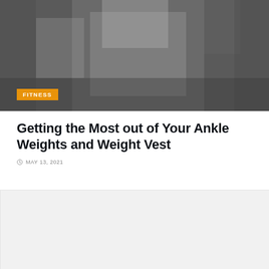[Figure (photo): Grayscale photo of a person wearing a weight vest, seen from the torso up with arms visible, on a dark background. Orange 'FITNESS' category badge overlay at bottom-left.]
Getting the Most out of Your Ankle Weights and Weight Vest
MAY 13, 2021
[Figure (photo): Light gray placeholder image area below the article meta info.]